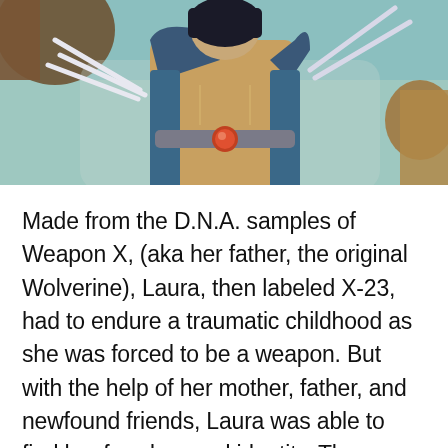[Figure (illustration): Comic book illustration of a female superhero (Laura/X-23/Wolverine) in a blue and tan costume with a red gem belt buckle, extending claws from both hands. Background shows a gray sky and brown tree at the right edge.]
Made from the D.N.A. samples of Weapon X, (aka her father, the original Wolverine), Laura, then labeled X-23, had to endure a traumatic childhood as she was forced to be a weapon. But with the help of her mother, father, and newfound friends, Laura was able to find her freedom and identity. Then, when her father died, Laura became his successor as the all-new Wolverine!